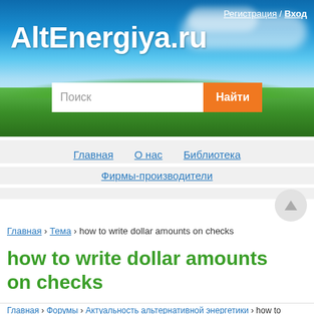[Figure (screenshot): AltEnergiya.ru website header with sky and grass background, logo, search bar, navigation links, breadcrumb, and page title]
AltEnergiya.ru — Регистрация / Вход
Поиск   Найти
Главная   О нас   Библиотека
Фирмы-производители
Популярные интернет-магазины   Рекламодателям
Главная › Тема › how to write dollar amounts on checks
how to write dollar amounts on checks
Главная › Форумы › Актуальность альтернативной энергетики › how to